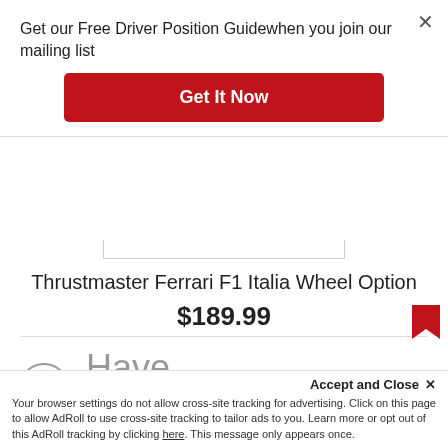Get our Free Driver Position Guidewhen you join our mailing list
× (close button)
Get It Now
Thrustmaster Ferrari F1 Italia Wheel Option
$189.99
★★★★★ (14)
Have
a cookie
Accept the use of cookies on this site more information
Accept and Close ✕
Your browser settings do not allow cross-site tracking for advertising. Click on this page to allow AdRoll to use cross-site tracking to tailor ads to you. Learn more or opt out of this AdRoll tracking by clicking here. This message only appears once.